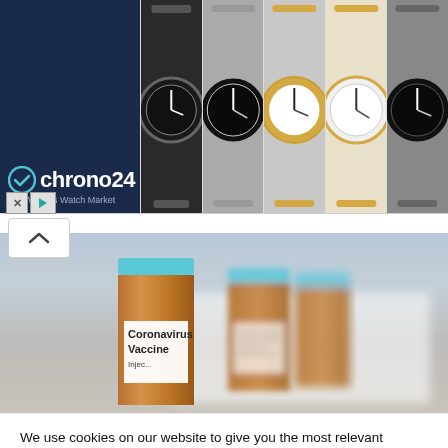[Figure (screenshot): Chrono24 advertisement banner showing logo on dark blue background on left and five luxury watch photos on right]
[Figure (photo): Coronavirus Vaccine vials — amber/brown medicine vials with blue caps and white labels reading 'Coronavirus Vaccine', blurred background]
We use cookies on our website to give you the most relevant experience by remembering your preferences and repeat visits. By clicking “Accept”, you consent to the use of ALL the cookies.
Do not sell my personal information.
Cookie settings   ACCEPT